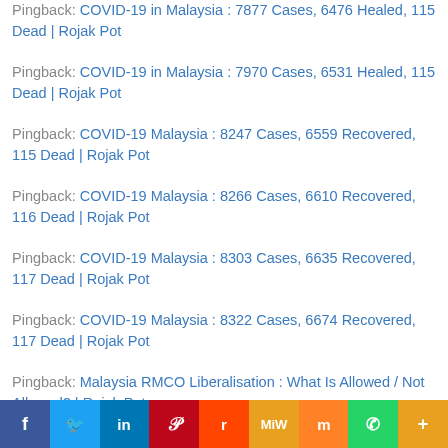Pingback: COVID-19 in Malaysia : 7877 Cases, 6476 Healed, 115 Dead | Rojak Pot
Pingback: COVID-19 in Malaysia : 7970 Cases, 6531 Healed, 115 Dead | Rojak Pot
Pingback: COVID-19 Malaysia : 8247 Cases, 6559 Recovered, 115 Dead | Rojak Pot
Pingback: COVID-19 Malaysia : 8266 Cases, 6610 Recovered, 116 Dead | Rojak Pot
Pingback: COVID-19 Malaysia : 8303 Cases, 6635 Recovered, 117 Dead | Rojak Pot
Pingback: COVID-19 Malaysia : 8322 Cases, 6674 Recovered, 117 Dead | Rojak Pot
Pingback: Malaysia RMCO Liberalisation : What Is Allowed / Not Allowed? | Rojak Pot
Pingback: COVID-19 Malaysia : 8336 Cases, 6975 Recovered, 117 Dead | Rojak Pot
[Figure (infographic): Social sharing bar with Facebook, Twitter, LinkedIn, Pinterest, Reddit, MeWe, Mix, WhatsApp, and More buttons]